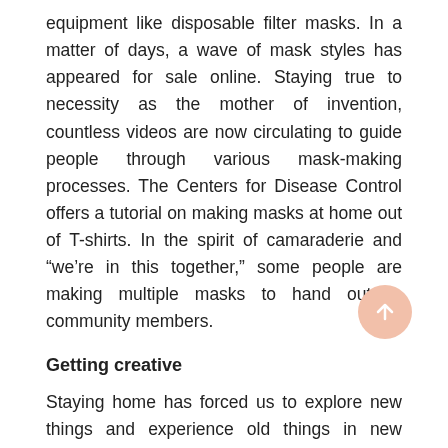equipment like disposable filter masks. In a matter of days, a wave of mask styles has appeared for sale online. Staying true to necessity as the mother of invention, countless videos are now circulating to guide people through various mask-making processes. The Centers for Disease Control offers a tutorial on making masks at home out of T-shirts. In the spirit of camaraderie and “we’re in this together,” some people are making multiple masks to hand out to community members.
Getting creative
Staying home has forced us to explore new things and experience old things in new ways. We are playing board games with our families and checking in more frequently with distant friends and family.